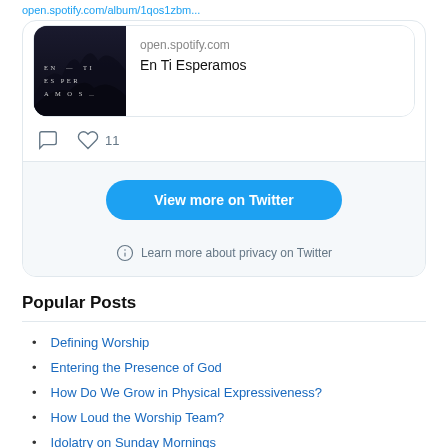[Figure (screenshot): Spotify album preview card for 'En Ti Esperamos' showing album art with dark desert/mountain background and text 'EN TI ESPERAMOS', with open.spotify.com domain and title text]
open.spotify.com
En Ti Esperamos
11
View more on Twitter
Learn more about privacy on Twitter
Popular Posts
Defining Worship
Entering the Presence of God
How Do We Grow in Physical Expressiveness?
How Loud the Worship Team?
Idolatry on Sunday Mornings